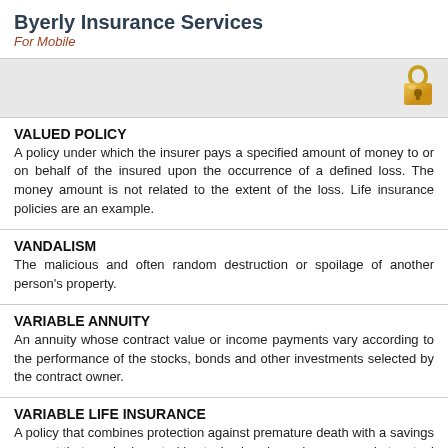Byerly Insurance Services
For Mobile
[Figure (illustration): Gray bar with a golden padlock icon in the top-right corner]
VALUED POLICY
A policy under which the insurer pays a specified amount of money to or on behalf of the insured upon the occurrence of a defined loss. The money amount is not related to the extent of the loss. Life insurance policies are an example.
VANDALISM
The malicious and often random destruction or spoilage of another person's property.
VARIABLE ANNUITY
An annuity whose contract value or income payments vary according to the performance of the stocks, bonds and other investments selected by the contract owner.
VARIABLE LIFE INSURANCE
A policy that combines protection against premature death with a savings account that can be invested in stocks, bonds, and money market mutual funds at the policyholder's discretion.
VIATICAL SETTLEMENT COMPANIES